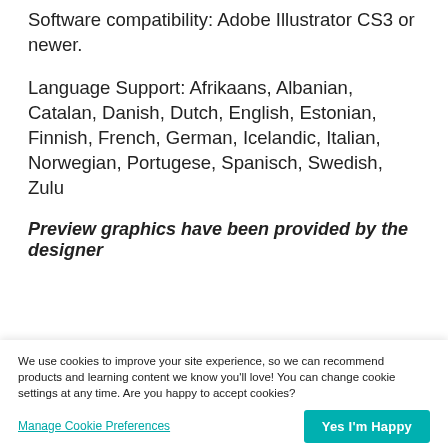Software compatibility: Adobe Illustrator CS3 or newer.
Language Support: Afrikaans, Albanian, Catalan, Danish, Dutch, English, Estonian, Finnish, French, German, Icelandic, Italian, Norwegian, Portugese, Spanisch, Swedish, Zulu
Preview graphics have been provided by the designer
We use cookies to improve your site experience, so we can recommend products and learning content we know you'll love! You can change cookie settings at any time. Are you happy to accept cookies?
Manage Cookie Preferences
Yes I'm Happy
TOP